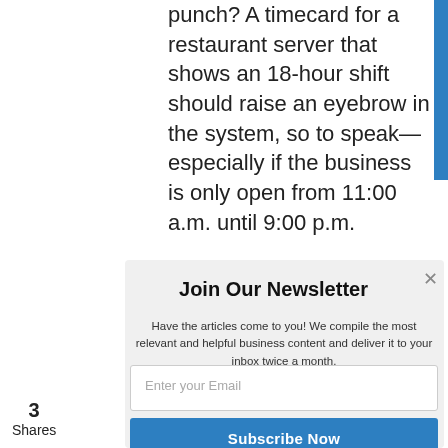punch? A timecard for a restaurant server that shows an 18-hour shift should raise an eyebrow in the system, so to speak—especially if the business is only open from 11:00 a.m. until 9:00 p.m.

Does your HR or payroll manager have to correct timecards with missing punches? This may require
3
Shares
Join Our Newsletter
Have the articles come to you! We compile the most relevant and helpful business content and deliver it to your inbox twice a month.
Enter your Email
Subscribe Now